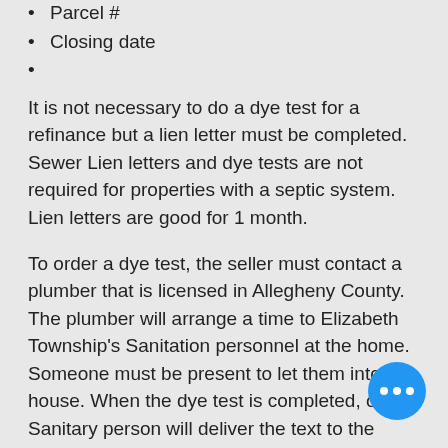Parcel #
Closing date
It is not necessary to do a dye test for a refinance but a lien letter must be completed. Sewer Lien letters and dye tests are not required for properties with a septic system. Lien letters are good for 1 month.
To order a dye test, the seller must contact a plumber that is licensed in Allegheny County. The plumber will arrange a time to Elizabeth Township’s Sanitation personnel at the home. Someone must be present to let them into the house. When the dye test is completed, our Sanitary person will deliver the text to the Municipal Building. The dye test form is available on the Elizabeth Township web page.
Once the dye test is delivered to the